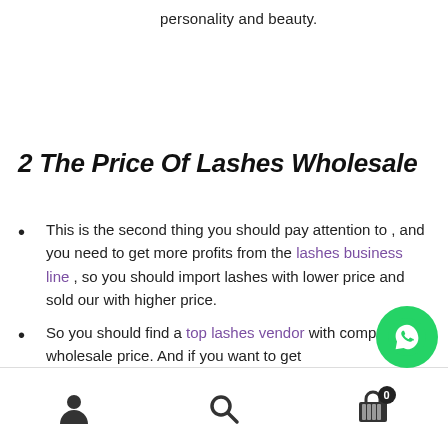personality and beauty.
2 The Price Of Lashes Wholesale
This is the second thing you should pay attention to , and you need to get more profits from the lashes business line , so you should import lashes with lower price and sold our with higher price.
So you should find a top lashes vendor with competitive wholesale price. And if you want to get
[Figure (other): WhatsApp floating action button (green circle with phone icon)]
User icon | Search icon | Cart icon (0)